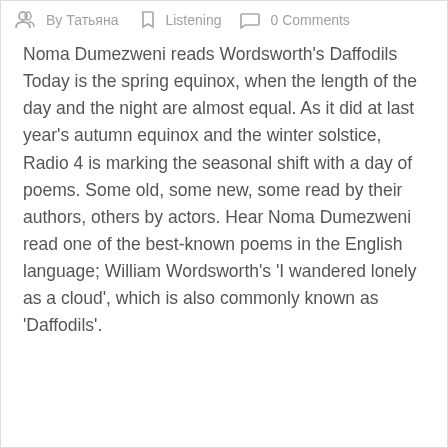By Татьяна  Listening  0 Comments
Noma Dumezweni reads Wordsworth's Daffodils Today is the spring equinox, when the length of the day and the night are almost equal. As it did at last year's autumn equinox and the winter solstice, Radio 4 is marking the seasonal shift with a day of poems. Some old, some new, some read by their authors, others by actors. Hear Noma Dumezweni read one of the best-known poems in the English language; William Wordsworth's 'I wandered lonely as a cloud', which is also commonly known as 'Daffodils'.